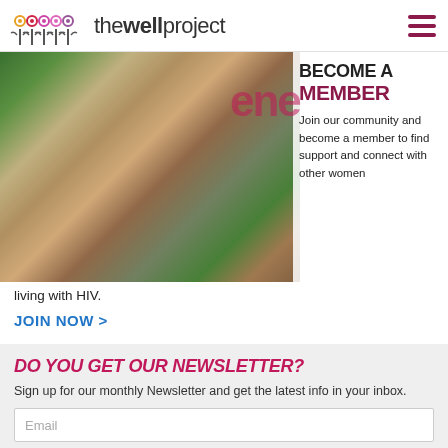the well project
[Figure (photo): Group photo of women at a conference/event, some wearing lanyards, smiling together. Overlaid with 'BECOME A MEMBER' text and partial description.]
Join our community and become a member to find support and connect with other women living with HIV.
JOIN NOW >
DO YOU GET OUR NEWSLETTER?
Sign up for our monthly Newsletter and get the latest info in your inbox.